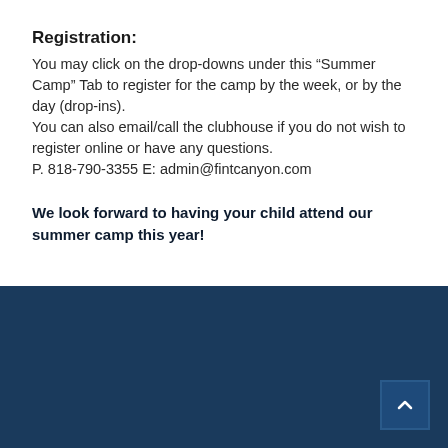Registration:
You may click on the drop-downs under this “Summer Camp” Tab to register for the camp by the week, or by the day (drop-ins).
You can also email/call the clubhouse if you do not wish to register online or have any questions.
P. 818-790-3355 E: admin@fintcanyon.com
We look forward to having your child attend our summer camp this year!
[Figure (other): Dark blue footer bar with a scroll-to-top button in the bottom right corner showing an upward chevron arrow]